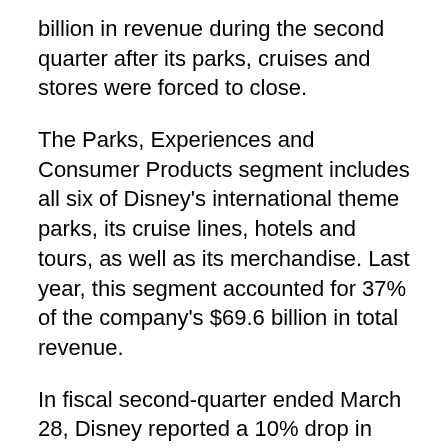billion in revenue during the second quarter after its parks, cruises and stores were forced to close.
The Parks, Experiences and Consumer Products segment includes all six of Disney's international theme parks, its cruise lines, hotels and tours, as well as its merchandise. Last year, this segment accounted for 37% of the company's $69.6 billion in total revenue.
In fiscal second-quarter ended March 28, Disney reported a 10% drop in this segment, with revenue falling to $5.54 billion.
The company also reported a 58% drop in operating income for Parks, Experiences and Consumer Products this quarter compared to the